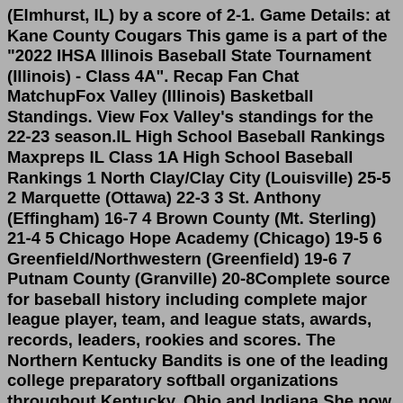(Elmhurst, IL) by a score of 2-1. Game Details: at Kane County Cougars This game is a part of the "2022 IHSA Illinois Baseball State Tournament (Illinois) - Class 4A". Recap Fan Chat MatchupFox Valley (Illinois) Basketball Standings. View Fox Valley's standings for the 22-23 season.IL High School Baseball Rankings Maxpreps IL Class 1A High School Baseball Rankings 1 North Clay/Clay City (Louisville) 25-5 2 Marquette (Ottawa) 22-3 3 St. Anthony (Effingham) 16-7 4 Brown County (Mt. Sterling) 21-4 5 Chicago Hope Academy (Chicago) 19-5 6 Greenfield/Northwestern (Greenfield) 19-6 7 Putnam County (Granville) 20-8Complete source for baseball history including complete major league player, team, and league stats, awards, records, leaders, rookies and scores. The Northern Kentucky Bandits is one of the leading college preparatory softball organizations throughout Kentucky, Ohio and Indiana She now resides in Chicago and is an accountant at an engineering firm in the loop Athletes in the IHSA...